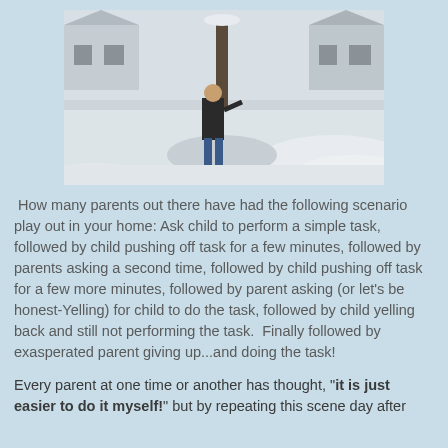[Figure (photo): Person standing in snow-covered yard/driveway in front of a house in winter, wearing a dark jacket and jeans, surrounded by snow.]
How many parents out there have had the following scenario play out in your home: Ask child to perform a simple task, followed by child pushing off task for a few minutes, followed by parents asking a second time, followed by child pushing off task for a few more minutes, followed by parent asking (or let's be honest-Yelling) for child to do the task, followed by child yelling back and still not performing the task.  Finally followed by exasperated parent giving up...and doing the task!
Every parent at one time or another has thought, "it is just easier to do it myself!" but by repeating this scene day after